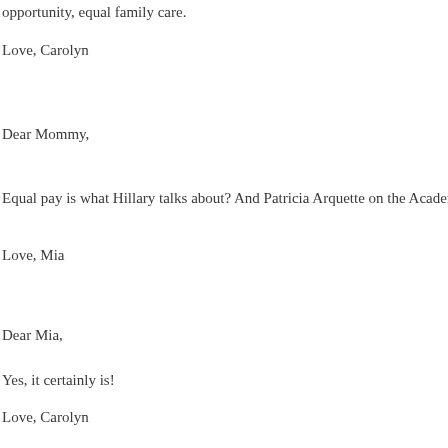opportunity, equal family care.
Love, Carolyn
Dear Mommy,
Equal pay is what Hillary talks about? And Patricia Arquette on the Academy Aw
Love, Mia
Dear Mia,
Yes, it certainly is!
Love, Carolyn